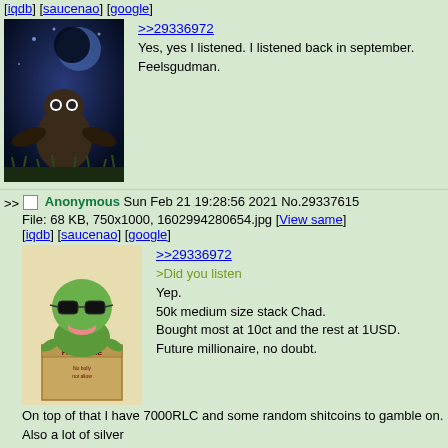[iqdb] [saucenao] [google]
[Figure (photo): Image of a bird/owl figure against a dark blue night sky with moon]
>>29336972
Yes, yes I listened. I listened back in september. Feelsgudman.
>> Anonymous Sun Feb 21 19:28:56 2021 No.29337615
File: 68 KB, 750x1000, 1602994280654.jpg [View same]
[iqdb] [saucenao] [google]
[Figure (illustration): Pepe the frog wearing sunglasses sitting in a cardboard box labeled FREN ZONE]
>>29336972
>Did you listen
Yep.
50k medium size stack Chad.
Bought most at 10ct and the rest at 1USD.
Future millionaire, no doubt.
On top of that I have 7000RLC and some random shitcoins to gamble on. Also a lot of silver
Very comfy. I will be able to afford a farm here in Germany in a few years, frens